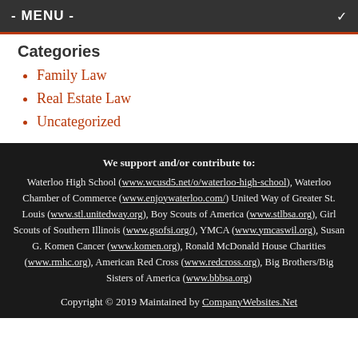- MENU -
Categories
Family Law
Real Estate Law
Uncategorized
We support and/or contribute to: Waterloo High School (www.wcusd5.net/o/waterloo-high-school), Waterloo Chamber of Commerce (www.enjoywaterloo.com/) United Way of Greater St. Louis (www.stl.unitedway.org), Boy Scouts of America (www.stlbsa.org), Girl Scouts of Southern Illinois (www.gsofsi.org/), YMCA (www.ymcaswil.org), Susan G. Komen Cancer (www.komen.org), Ronald McDonald House Charities (www.rmhc.org), American Red Cross (www.redcross.org), Big Brothers/Big Sisters of America (www.bbbsa.org)
Copyright © 2019 Maintained by CompanyWebsites.Net